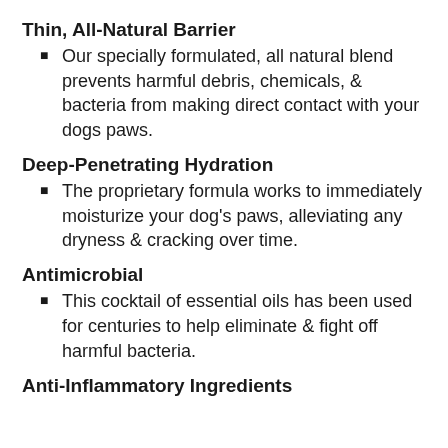Thin, All-Natural Barrier
Our specially formulated, all natural blend prevents harmful debris, chemicals, & bacteria from making direct contact with your dogs paws.
Deep-Penetrating Hydration
The proprietary formula works to immediately moisturize your dog's paws, alleviating any dryness & cracking over time.
Antimicrobial
This cocktail of essential oils has been used for centuries to help eliminate & fight off harmful bacteria.
Anti-Inflammatory Ingredients